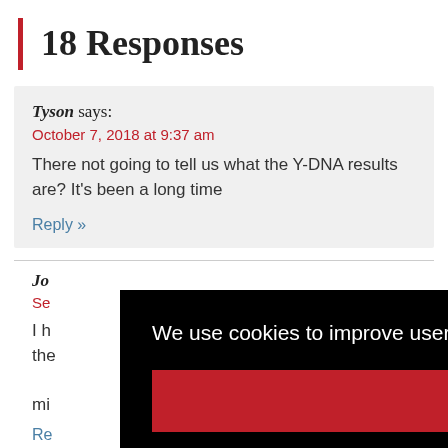18 Responses
Tyson says:
October 7, 2018 at 9:37 am
There not going to tell us what the Y-DNA results are? It's been a long time
Reply »
Jo says:
September ... 
I h...
the...
mi...
Re...
We use cookies to improve user experience and analyze website traffic.
Accept